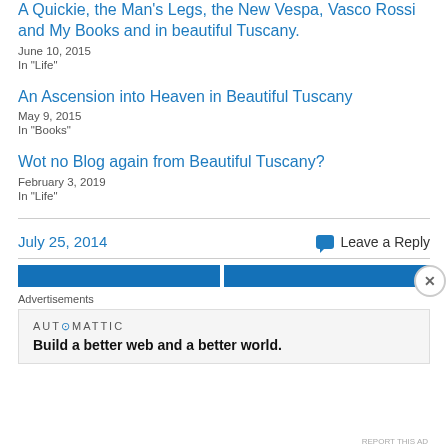A Quickie, the Man's Legs, the New Vespa, Vasco Rossi and My Books and in beautiful Tuscany.
June 10, 2015
In "Life"
An Ascension into Heaven in Beautiful Tuscany
May 9, 2015
In "Books"
Wot no Blog again from Beautiful Tuscany?
February 3, 2019
In "Life"
July 25, 2014
Leave a Reply
Advertisements
[Figure (logo): Automattic logo with tagline: Build a better web and a better world.]
REPORT THIS AD